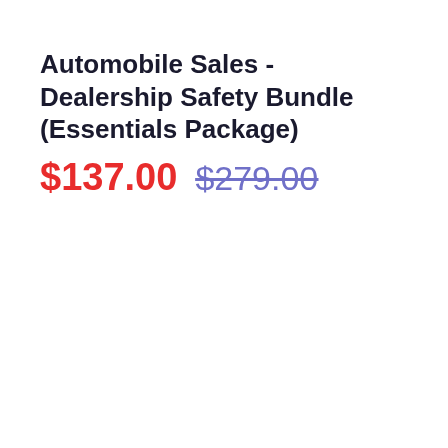Automobile Sales - Dealership Safety Bundle (Essentials Package)
$137.00  $279.00